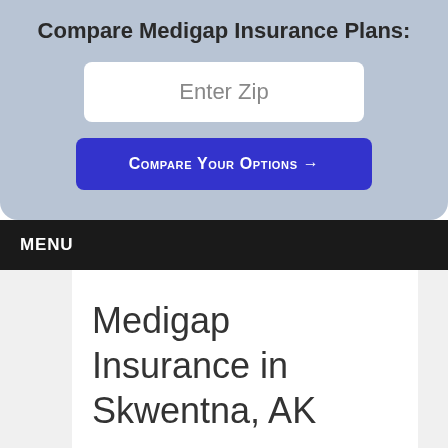Compare Medigap Insurance Plans:
Enter Zip
Compare Your Options →
MENU
Medigap Insurance in Skwentna, AK